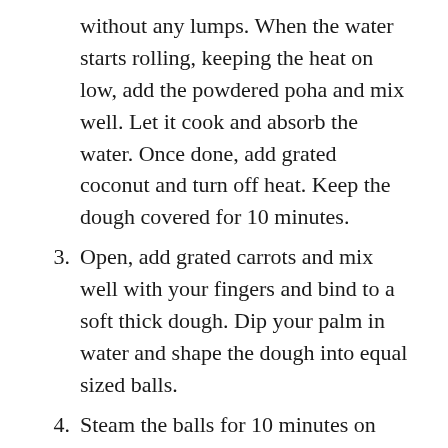without any lumps. When the water starts rolling, keeping the heat on low, add the powdered poha and mix well. Let it cook and absorb the water. Once done, add grated coconut and turn off heat. Keep the dough covered for 10 minutes.
3. Open, add grated carrots and mix well with your fingers and bind to a soft thick dough. Dip your palm in water and shape the dough into equal sized balls.
4. Steam the balls for 10 minutes on medium heat. Serve with any chutney/sambar.
Note:
Pulsate Poha in a mixie for making powder.
Other millet poha can also be used for this